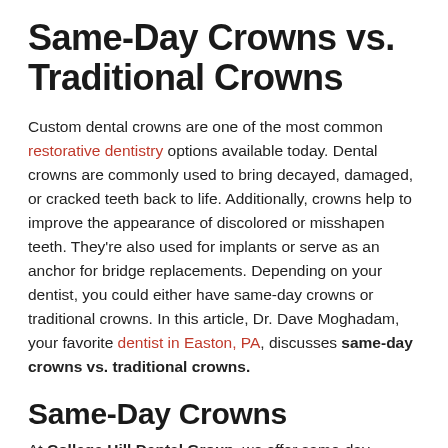Same-Day Crowns vs. Traditional Crowns
Custom dental crowns are one of the most common restorative dentistry options available today. Dental crowns are commonly used to bring decayed, damaged, or cracked teeth back to life. Additionally, crowns help to improve the appearance of discolored or misshapen teeth. They're also used for implants or serve as an anchor for bridge replacements. Depending on your dentist, you could either have same-day crowns or traditional crowns. In this article, Dr. Dave Moghadam, your favorite dentist in Easton, PA, discusses same-day crowns vs. traditional crowns.
Same-Day Crowns
At College Hill Dental Group, we offer same-day crowns